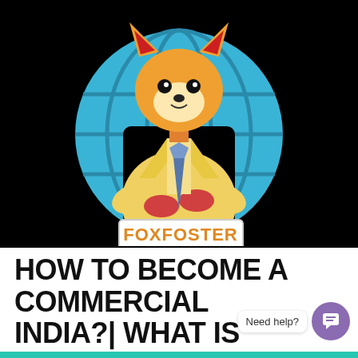[Figure (illustration): FoxFoster logo/mascot: an anthropomorphic fox character in a yellow suit with arms crossed, standing in front of a blue globe/world icon on a black background, holding a sign that says FOXFOSTER]
HOW TO BECOME A COMMERCIAL PILOT IN INDIA?| WHAT IS CADET